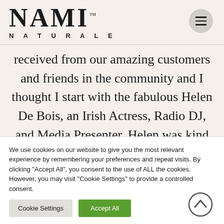NAMI™ NATURALE
received from our amazing customers and friends in the community and I thought I start with the fabulous Helen De Bois, an Irish Actress, Radio DJ, and Media Presenter. Helen was kind enough to share her experience and
We use cookies on our website to give you the most relevant experience by remembering your preferences and repeat visits. By clicking "Accept All", you consent to the use of ALL the cookies. However, you may visit "Cookie Settings" to provide a controlled consent.